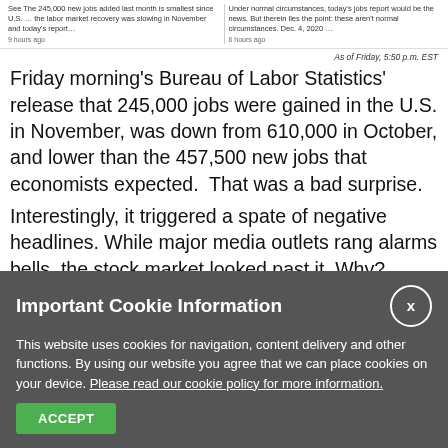[Figure (screenshot): Two news article thumbnails at the top of the page showing headlines about jobs report]
As of Friday, 5:50 p.m. EST
Friday morning's Bureau of Labor Statistics' release that 245,000 jobs were gained in the U.S. in November, was down from 610,000 in October, and lower than the 457,500 new jobs that economists expected.  That was a bad surprise.
Interestingly, it triggered a spate of negative headlines. While major media outlets rang alarms bells, the stock market looked past it. Why?
American Are Sitting on a Mountain Of Cash
Important Cookie Information
This website uses cookies for navigation, content delivery and other functions. By using our website you agree that we can place cookies on your device. Please read our cookie policy for more information.
ACCEPT